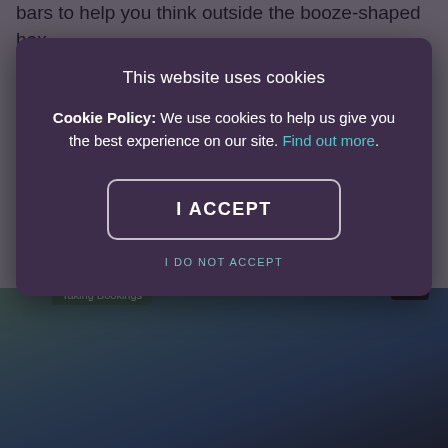bars to help you think outside the booze-shaped box.
[Figure (screenshot): Bottom portion of a webpage showing a woman in a teal top, with a 'Taking Bookings' badge and a heart/favorite button]
This website uses cookies
Cookie Policy: We use cookies to help us give you the best experience on our site. Find out more.
I ACCEPT
I DO NOT ACCEPT